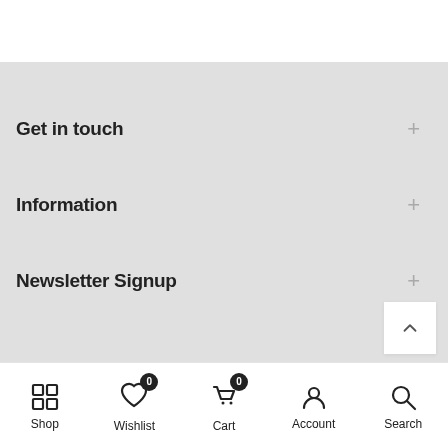Get in touch
Information
Newsletter Signup
Shop | Wishlist 0 | Cart 0 | Account | Search